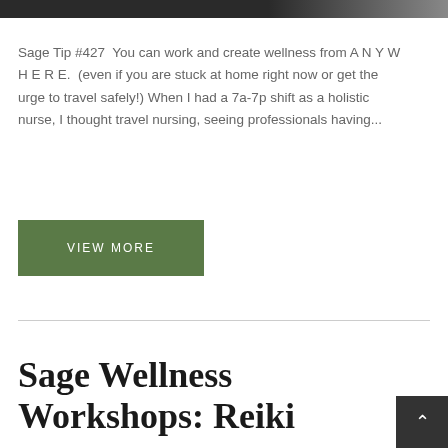[Figure (photo): Partial black and white photo strip at the top of the page]
Sage Tip #427  You can work and create wellness from A N Y W H E R E.  (even if you are stuck at home right now or get the urge to travel safely!) When I had a 7a-7p shift as a holistic nurse, I thought travel nursing, seeing professionals having...
VIEW MORE
Sage Wellness Workshops: Reiki